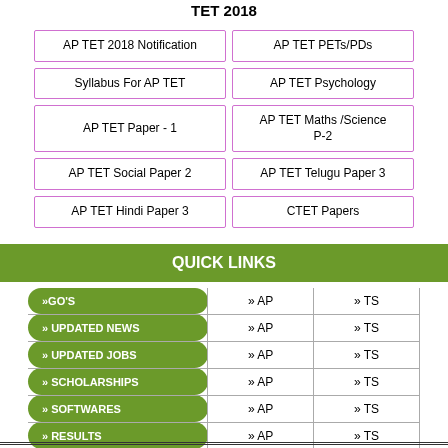TET 2018
| AP TET 2018 Notification | AP TET PETs/PDs |
| Syllabus For AP TET | AP TET Psychology |
| AP TET Paper - 1 | AP TET Maths /Science P-2 |
| AP TET Social Paper 2 | AP TET Telugu Paper 3 |
| AP TET Hindi Paper 3 | CTET Papers |
QUICK LINKS
|  | AP | TS |
| --- | --- | --- |
| »GO'S | » AP | » TS |
| » UPDATED NEWS | » AP | » TS |
| » UPDATED JOBS | » AP | » TS |
| » SCHOLARSHIPS | » AP | » TS |
| » SOFTWARES | » AP | » TS |
| » RESULTS | » AP | » TS |